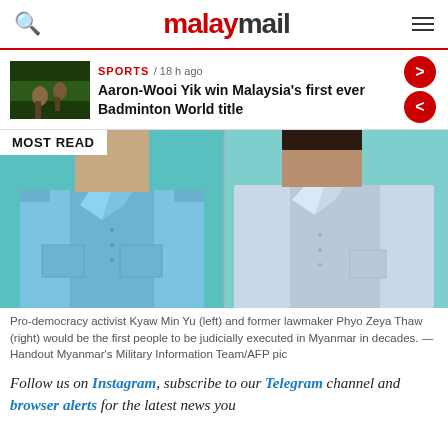malaymail
SPORTS / 18 h ago
Aaron-Wooi Yik win Malaysia's first ever Badminton World title
[Figure (photo): Two men in light blue shirts with heads cut off, side by side, against teal background. MOST READ badge in top left corner.]
Pro-democracy activist Kyaw Min Yu (left) and former lawmaker Phyo Zeya Thaw (right) would be the first people to be judicially executed in Myanmar in decades. — Handout Myanmar's Military Information Team/AFP pic
Follow us on Instagram, subscribe to our Telegram channel and browser alerts for the latest news you